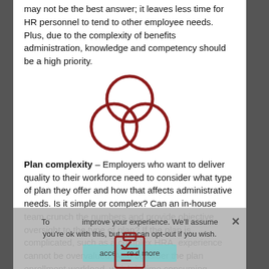may not be the best answer; it leaves less time for HR personnel to tend to other employee needs. Plus, due to the complexity of benefits administration, knowledge and competency should be a high priority.
[Figure (illustration): Three overlapping circles forming a Venn diagram / trefoil knot shape, drawn in dark red outline style]
Plan complexity – Employers who want to deliver quality to their workforce need to consider what type of plan they offer and how that affects administrative needs. Is it simple or complex? Can an in-house team crunch the numbers and provide objective oversight to the type of plan? If the plan is complicated, such as a complex HRA, experience cannot be overvalued. Also consider the plan enrollment workload, which is time consuming.